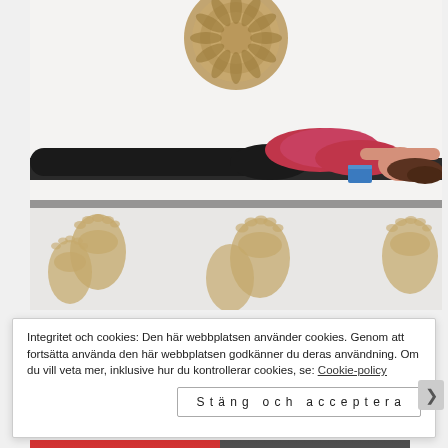[Figure (photo): A woman in a red top and black leggings lying on a yoga mat on her back, arching her upper body over a blue yoga block, arms extended above her head. The studio floor has decorative golden footprint shapes painted on it. A decorative mandala-style ornament is visible on the white wall in the background.]
Integritet och cookies: Den här webbplatsen använder cookies. Genom att fortsätta använda den här webbplatsen godkänner du deras användning. Om du vill veta mer, inklusive hur du kontrollerar cookies, se: Cookie-policy
Stäng och acceptera